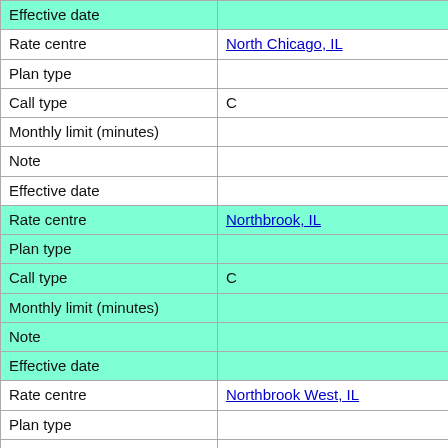| Field | Value |
| --- | --- |
| Effective date |  |
| Rate centre | North Chicago, IL |
| Plan type |  |
| Call type | C |
| Monthly limit (minutes) |  |
| Note |  |
| Effective date |  |
| Rate centre | Northbrook, IL |
| Plan type |  |
| Call type | C |
| Monthly limit (minutes) |  |
| Note |  |
| Effective date |  |
| Rate centre | Northbrook West, IL |
| Plan type |  |
| Call type | C |
| Monthly limit (minutes) |  |
| Note |  |
| Effective date |  |
| Rate centre | Oak Brook, IL |
| Plan type |  |
| Call type | C |